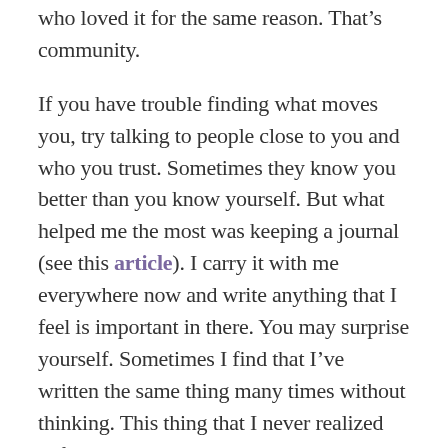who loved it for the same reason. That's community.
If you have trouble finding what moves you, try talking to people close to you and who you trust. Sometimes they know you better than you know yourself. But what helped me the most was keeping a journal (see this article). I carry it with me everywhere now and write anything that I feel is important in there. You may surprise yourself. Sometimes I find that I've written the same thing many times without thinking. This thing that I never realized before is obviously important to me somehow.
I wish you the best! Being a TCK is not easy. We didn't ask to be this way, but we also have